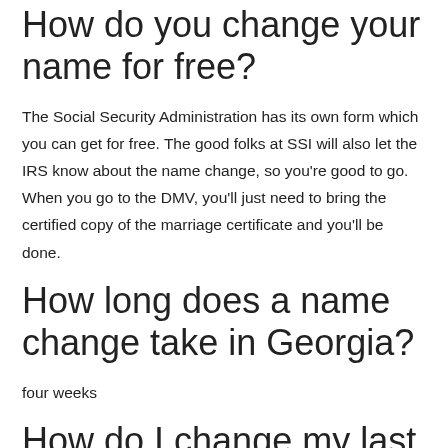How do you change your name for free?
The Social Security Administration has its own form which you can get for free. The good folks at SSI will also let the IRS know about the name change, so you're good to go. When you go to the DMV, you'll just need to bring the certified copy of the marriage certificate and you'll be done.
How long does a name change take in Georgia?
four weeks
How do I change my last name in the state of Georgia?
How to Legally Change a Name in Georgia